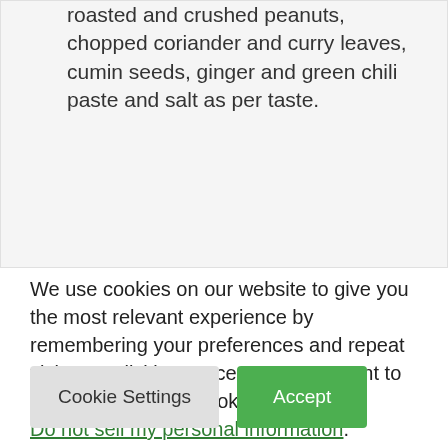roasted and crushed peanuts, chopped coriander and curry leaves, cumin seeds, ginger and green chili paste and salt as per taste.
We use cookies on our website to give you the most relevant experience by remembering your preferences and repeat visits. By clicking “Accept”, you consent to the use of ALL the cookies.
Do not sell my personal information.